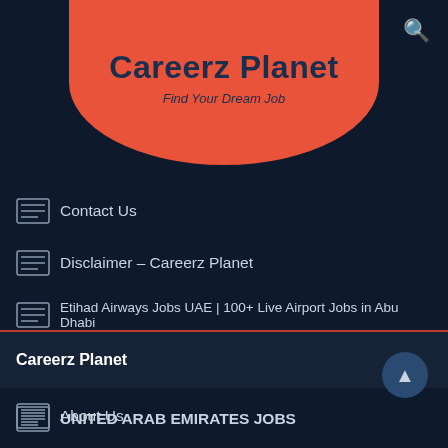Careerz Planet
Find Your Dream Job
Contact Us
Disclaimer – Careerz Planet
Etihad Airways Jobs UAE | 100+ Live Airport Jobs in Abu Dhabi
Jobs in UAE | Latest Jobs in United Arab Emirates | Careerz Planet
UNITED ARAB EMIRATES JOBS
Post Job For Free
Privacy Policy
Careerz Planet
About Us